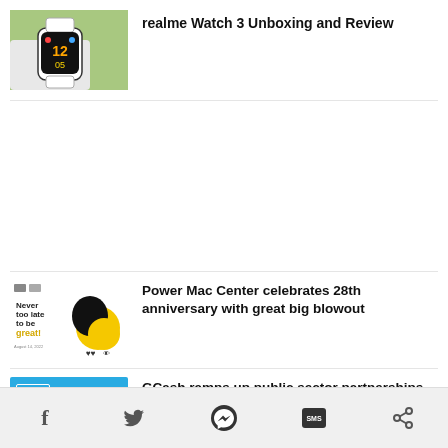[Figure (photo): Thumbnail image of a person wearing a realme Watch 3 smartwatch showing a colorful watch face, outdoors with green background]
realme Watch 3 Unboxing and Review
[Figure (photo): Thumbnail of Power Mac Center 28th anniversary advertisement showing the text 'Never too late to be great!' with yellow and black balloon/design element]
Power Mac Center celebrates 28th anniversary with great big blowout
[Figure (photo): GCash blue banner thumbnail]
GCash ramps up public sector partnerships